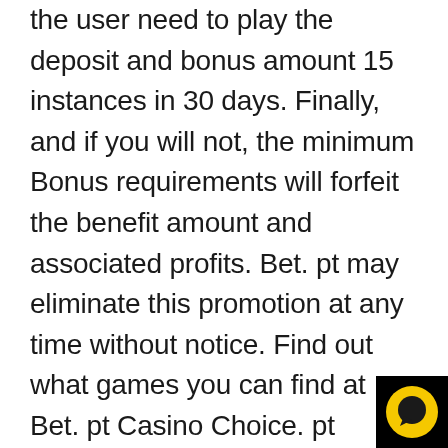the user need to play the deposit and bonus amount 15 instances in 30 days. Finally, and if you will not, the minimum Bonus requirements will forfeit the benefit amount and associated profits. Bet. pt may eliminate this promotion at any time without notice. Find out what games you can find at Bet. pt Casino Choice. pt Casino currently features over 100 games offered from a wide range of Slots, Blackjacks, Roulette and Jackpot games. The biggest chunk of games available goes to Slot Machines with currently about 90 game titles thus pleasing Greeks and Trojans. This is one of, in the event that not the most sought after among casino players and here Guess. pt responds well to sell demand. Among the many titles recognized to regulars are Starbust Port and Mystic Guns in 'Roses Slot. In addition to the renowned slots you have about sever
[Figure (other): Chat support icon — black square background with yellow circle containing a dark chat bubble icon, positioned in the bottom-right corner]